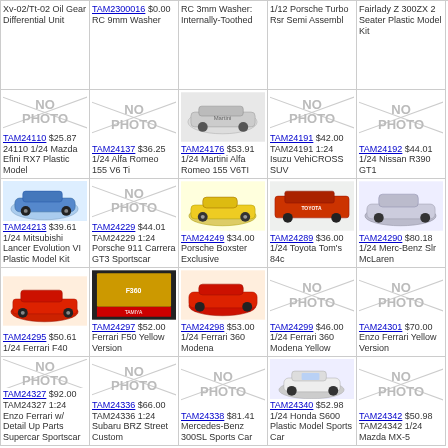TAM2300016 $0.00 RC 9mm Washer
RC 3mm Washer: Internally-Toothed
1/12 Porsche Turbo Rsr Semi Assembl
Fairlady Z 300ZX 2 Seater Plastic Model Kit
TAM24110 $25.87 24110 1/24 Mazda Efini RX7 Plastic Model
TAM24137 $36.25 1/24 Alfa Romeo 155 V6 Ti
TAM24176 $53.91 1/24 Martini Alfa Romeo 155 V6TI
TAM24191 $42.00 TAM24191 1:24 Isuzu VehiCROSS SUV
TAM24192 $44.01 1/24 Nissan R390 GT1
TAM24213 $39.61 1/24 Mitsubishi Lancer Evolution VI Plastic Model Kit
TAM24229 $44.01 TAM24229 1:24 Porsche 911 Carrera GT3 Sportscar
TAM24249 $34.00 Porsche Boxster Exclusive
TAM24289 $36.00 1/24 Toyota Tom's 84c
TAM24290 $80.18 1/24 Merc-Benz Slr McLaren
TAM24295 $50.61 1/24 Ferrari F40
TAM24297 $52.00 Ferrari F50 Yellow Version
TAM24298 $53.00 1/24 Ferrari 360 Modena
TAM24299 $46.00 1/24 Ferrari 360 Modena Yellow
TAM24301 $70.00 Enzo Ferrari Yellow Version
TAM24327 $92.00 TAM24327 1:24 Enzo Ferrari w/ Detail Up Parts Supercar Sportscar
TAM24336 $66.00 TAM24336 1:24 Subaru BRZ Street Custom
TAM24338 $81.41 Mercedes-Benz 300SL Sports Car
TAM24340 $52.98 1/24 Honda S600 Plastic Model Sports Car
TAM24342 $50.98 TAM24342 1/24 Mazda MX-5